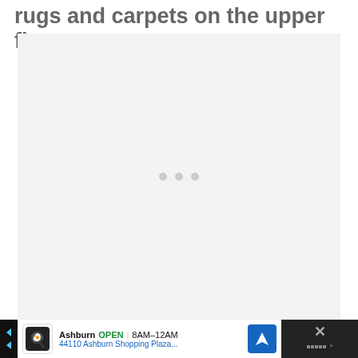rugs and carpets on the upper floor.
[Figure (other): Large light gray placeholder/loading image area with three small gray dots in the center indicating a loading or slideshow indicator.]
Ashburn  OPEN  8AM–12AM  44110 Ashburn Shopping Plaza...